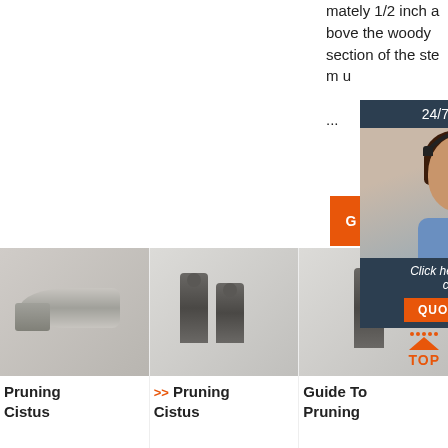mately 1/2 inch above the woody section of the stem u...
[Figure (infographic): Chat support overlay with woman wearing headset, '24/7 Online' header, 'Click here for free chat!' text, and QUOTATION button]
[Figure (photo): Metal bullet/connector tool product photo on gray background]
[Figure (photo): Two metal threaded connector pieces product photo on gray background]
[Figure (photo): Single metal connector piece with TOP badge overlay]
Pruning Cistus
>> Pruning Cistus
Guide To Pruning